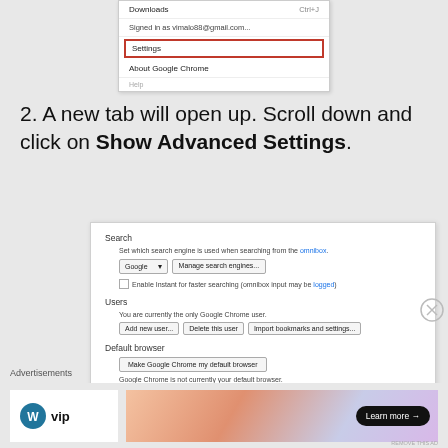[Figure (screenshot): Chrome browser menu showing Downloads, Signed in as vimalo88@gmail.com, Settings (highlighted with red border), About Google Chrome]
2. A new tab will open up. Scroll down and click on Show Advanced Settings.
[Figure (screenshot): Chrome Settings page section showing Search, Users, and Default browser options with various buttons and form elements]
Advertisements
[Figure (photo): WordPress VIP logo and Learn more advertisement banner]